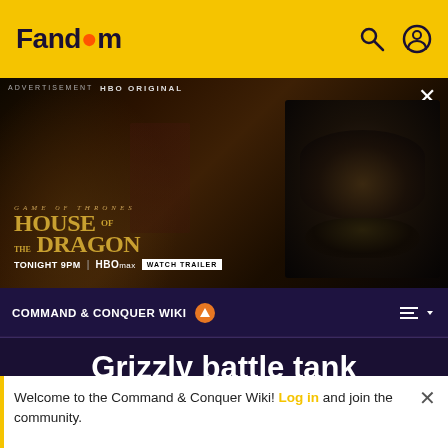Fandom
[Figure (screenshot): HBO Original advertisement for House of the Dragon – Game of Thrones prequel. Text reads: GAME OF THRONES / HOUSE OF THE DRAGON / TONIGHT 9PM | HBO max | WATCH TRAILER]
COMMAND & CONQUER WIKI
Grizzly battle tank
[Figure (photo): Partial image of a Grizzly battle tank with sky background]
Welcome to the Command & Conquer Wiki! Log in and join the community.